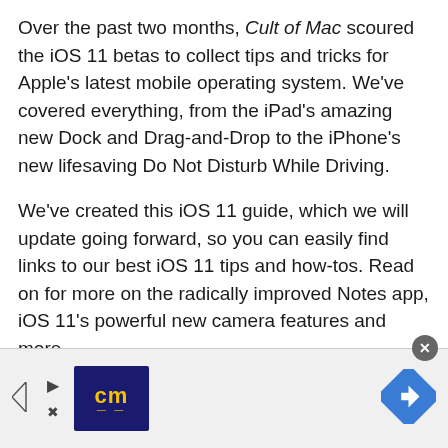Over the past two months, Cult of Mac scoured the iOS 11 betas to collect tips and tricks for Apple's latest mobile operating system. We've covered everything, from the iPad's amazing new Dock and Drag-and-Drop to the iPhone's new lifesaving Do Not Disturb While Driving.
We've created this iOS 11 guide, which we will update going forward, so you can easily find links to our best iOS 11 tips and how-tos. Read on for more on the radically improved Notes app, iOS 11's powerful new camera features and more.
CONTINUE READING »
[Figure (logo): Cult of Mac advertisement banner with CM logo and navigation icon]